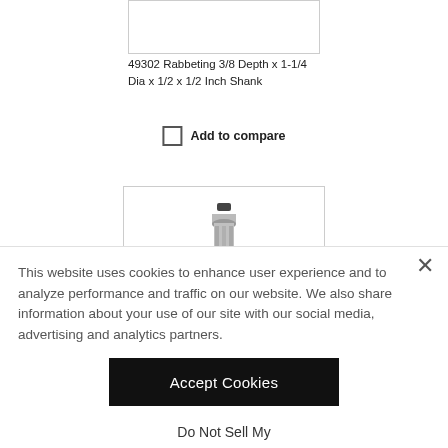[Figure (photo): Top portion of a product image box (white rectangle with border), partially visible]
49302 Rabbeting 3/8 Depth x 1-1/4 Dia x 1/2 x 1/2 Inch Shank
Add to compare
[Figure (photo): Router bit tool photo — a cylindrical silver/grey router bit with a black screw top, shown against white background]
This website uses cookies to enhance user experience and to analyze performance and traffic on our website. We also share information about your use of our site with our social media, advertising and analytics partners.
Accept Cookies
Do Not Sell My